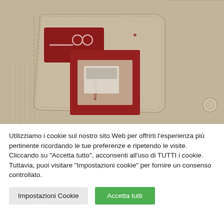[Figure (photo): Close-up photo of beige/khaki pants pocket with a red label tag showing a logo (scissors/tools icon), and a red card/booklet inside the pocket with text 'RICHIEDI LA TUA TESSERA' partially visible]
Utilizziamo i cookie sul nostro sito Web per offrirti l'esperienza più pertinente ricordando le tue preferenze e ripetendo le visite. Cliccando su "Accetta tutto", acconsenti all'uso di TUTTI i cookie. Tuttavia, puoi visitare "Impostazioni cookie" per fornire un consenso controllato.
Impostazioni Cookie
Accetta tutti